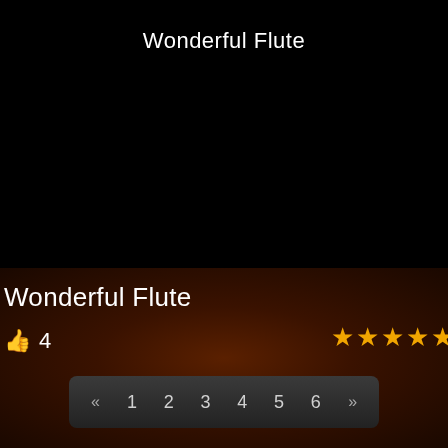Wonderful Flute
Wonderful Flute
👍 4
★★★★★
« 1 2 3 4 5 6 »